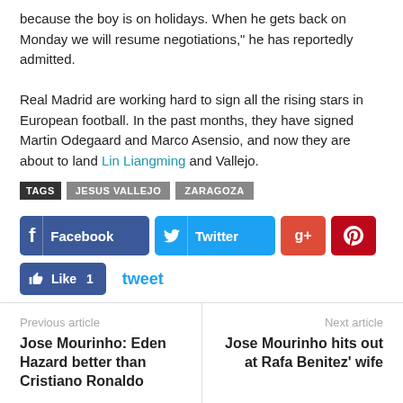because the boy is on holidays. When he gets back on Monday we will resume negotiations," he has reportedly admitted.
Real Madrid are working hard to sign all the rising stars in European football. In the past months, they have signed Martin Odegaard and Marco Asensio, and now they are about to land Lin Liangming and Vallejo.
TAGS: JESUS VALLEJO, ZARAGOZA
[Figure (infographic): Social sharing buttons: Facebook, Twitter, Google+, Pinterest, Like 1, tweet]
Previous article: Jose Mourinho: Eden Hazard better than Cristiano Ronaldo | Next article: Jose Mourinho hits out at Rafa Benitez' wife